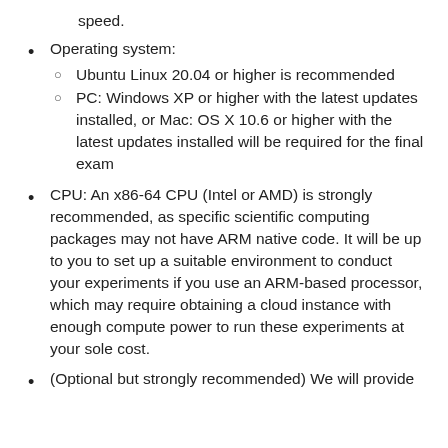speed.
Operating system:
Ubuntu Linux 20.04 or higher is recommended
PC: Windows XP or higher with the latest updates installed, or Mac: OS X 10.6 or higher with the latest updates installed will be required for the final exam
CPU: An x86-64 CPU (Intel or AMD) is strongly recommended, as specific scientific computing packages may not have ARM native code. It will be up to you to set up a suitable environment to conduct your experiments if you use an ARM-based processor, which may require obtaining a cloud instance with enough compute power to run these experiments at your sole cost.
(Optional but strongly recommended) We will provide